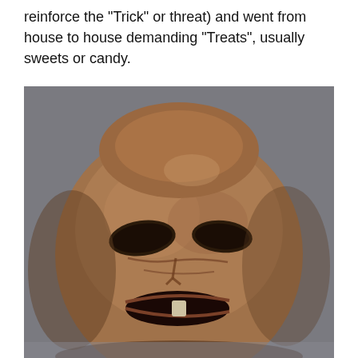reinforce the "Trick" or threat) and went from house to house demanding "Treats", usually sweets or candy.
[Figure (photo): A carved turnip jack-o'-lantern with a grotesque face — hollowed-out eye sockets and an open mouth with a single tooth visible. The turnip is roughly spherical with a brownish, mottled surface. The carving has a traditional, primitive style associated with early Halloween/Samhain traditions.]